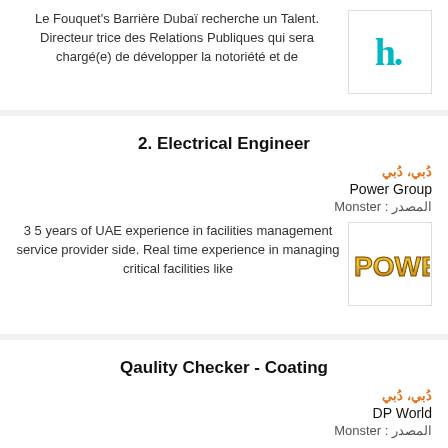Le Fouquet's Barrière Dubaï recherche un Talent. Directeur trice des Relations Publiques qui sera chargé(e) de développer la notoriété et de
[Figure (logo): h. logo in teal/cyan color]
2. Electrical Engineer
دُبي، دُبي
Power Group
المصدر : Monster
3 5 years of UAE experience in facilities management service provider side. Real time experience in managing critical facilities like
[Figure (logo): POWER logo in golden/brown stylized text]
Qaulity Checker - Coating
دُبي، دُبي
DP World
المصدر : Monster
Key Accountabilties Perform duties as instructed by Departmental Supervisors. Safeguarding the
[Figure (logo): DP World circular logo with green/teal wave design]